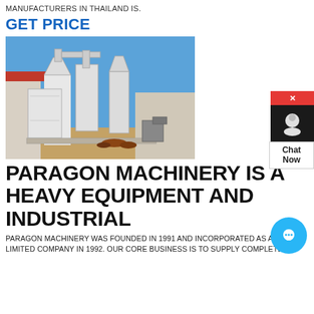MANUFACTURERS IN THAILAND IS.
GET PRICE
[Figure (photo): Industrial milling/grinding machine equipment installed outdoors next to a building with a red roof and blue sky background.]
PARAGON MACHINERY IS A HEAVY EQUIPMENT AND INDUSTRIAL
PARAGON MACHINERY WAS FOUNDED IN 1991 AND INCORPORATED AS A PRIVATE LIMITED COMPANY IN 1992. OUR CORE BUSINESS IS TO SUPPLY COMPLETE